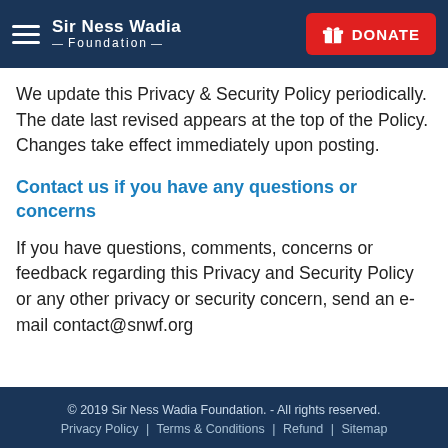Sir Ness Wadia Foundation | DONATE
We update this Privacy & Security Policy periodically. The date last revised appears at the top of the Policy. Changes take effect immediately upon posting.
Contact us if you have any questions or concerns
If you have questions, comments, concerns or feedback regarding this Privacy and Security Policy or any other privacy or security concern, send an e-mail contact@snwf.org
© 2019 Sir Ness Wadia Foundation. - All rights reserved. Privacy Policy | Terms & Conditions | Refund | Sitemap